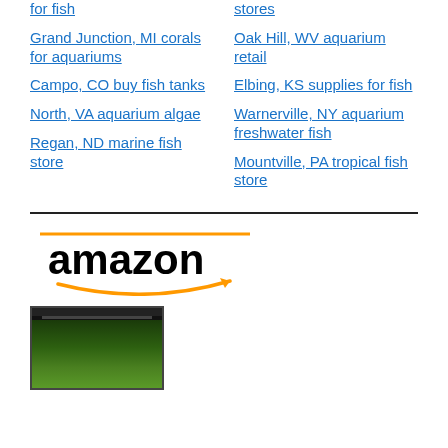for fish
stores
Grand Junction, MI corals for aquariums
Oak Hill, WV aquarium retail
Campo, CO buy fish tanks
Elbing, KS supplies for fish
North, VA aquarium algae
Warnerville, NY aquarium freshwater fish
Regan, ND marine fish store
Mountville, PA tropical fish store
[Figure (logo): Amazon logo with orange swoosh underline]